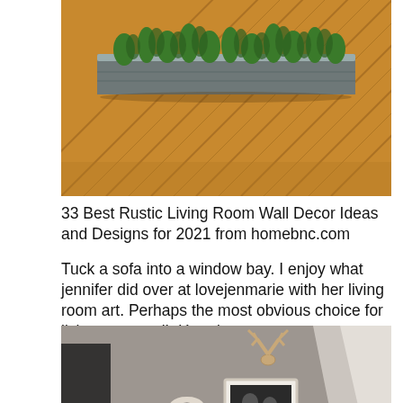[Figure (photo): Photo of a rectangular metal planter box with green plants/herbs on a diagonal wood plank floor (rustic wooden boards)]
33 Best Rustic Living Room Wall Decor Ideas and Designs for 2021 from homebnc.com
Tuck a sofa into a window bay. I enjoy what jennifer did over at lovejenmarie with her living room art. Perhaps the most obvious choice for living room wall décor is one statement painting hung carefully above the couch.
[Figure (photo): Photo of a rustic living room wall decorated with a large ampersand symbol, a deer antler mount, a framed black-and-white family photo, and a small round clock, on a grey/taupe wall]